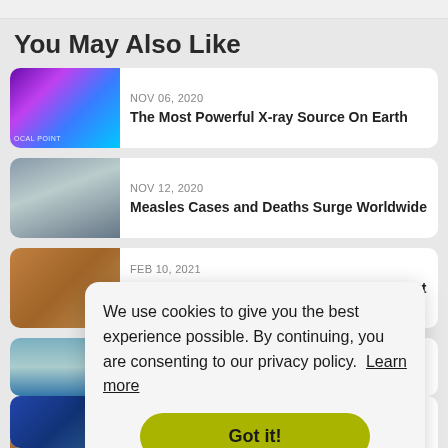You May Also Like
NOV 06, 2020 — The Most Powerful X-ray Source On Earth
NOV 12, 2020 — Measles Cases and Deaths Surge Worldwide
FEB 10, 2021 — Is the Nano-Chameleon the World's Smallest Reptile Species?
We use cookies to give you the best experience possible. By continuing, you are consenting to our privacy policy. Learn more
Got it!
MAY 30, 2021